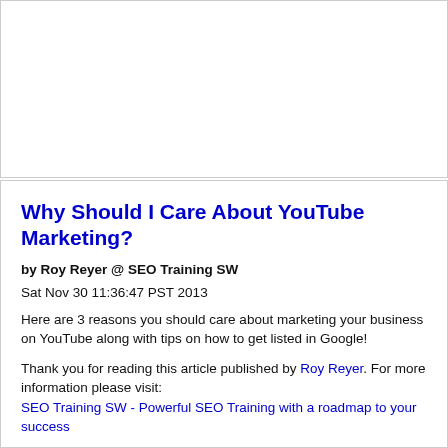Why Should I Care About YouTube Marketing?
by Roy Reyer @ SEO Training SW
Sat Nov 30 11:36:47 PST 2013
Here are 3 reasons you should care about marketing your business on YouTube along with tips on how to get listed in Google!
Thank you for reading this article published by Roy Reyer. For more information please visit: SEO Training SW - Powerful SEO Training with a roadmap to your success